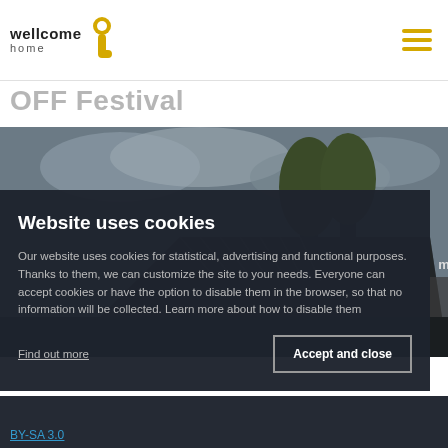wellcome home
OFF Festival
[Figure (photo): Outdoor festival stage with 'SCENA mBank' signage, trees and cloudy sky in background, crowd visible on right side]
Website uses cookies
Our website uses cookies for statistical, advertising and functional purposes. Thanks to them, we can customize the site to your needs. Everyone can accept cookies or have the option to disable them in the browser, so that no information will be collected. Learn more about how to disable them
Find out more
Accept and close
BY-SA 3.0